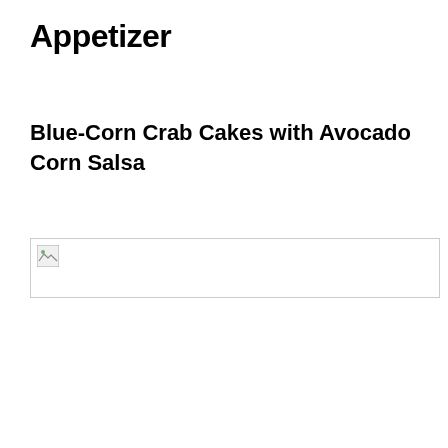Appetizer
Blue-Corn Crab Cakes with Avocado Corn Salsa
[Figure (photo): Broken/missing image placeholder with border]